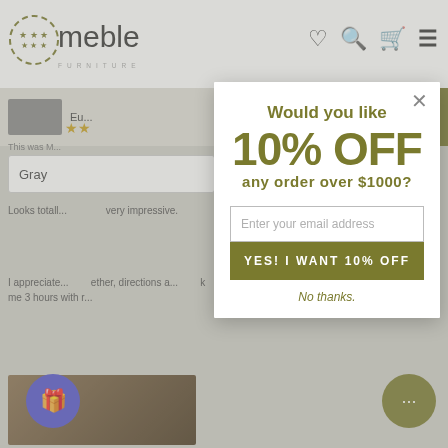[Figure (screenshot): Meble Furniture e-commerce website screenshot showing product page with a modal popup offering 10% off orders over $1000. The modal contains an email input field and a 'YES! I WANT 10% OFF' button, with a 'No thanks.' dismissal link.]
Would you like 10% OFF any order over $1000?
Enter your email address
YES! I WANT 10% OFF
No thanks.